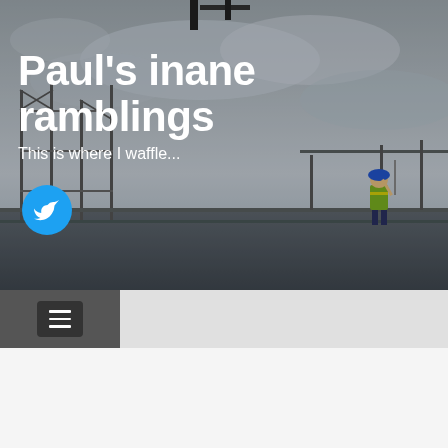[Figure (photo): Black and white photo of a construction site with scaffolding and a worker in a blue hard hat and high-visibility vest standing on an elevated platform against a cloudy sky]
Paul's inane ramblings
This is where I waffle...
[Figure (logo): Twitter bird icon in a blue circle button]
[Figure (other): Navigation hamburger menu button (three horizontal lines) in a dark square on a grey bar]
[Figure (other): Blue circle rocket/notification button]
TAG: YID ARMY